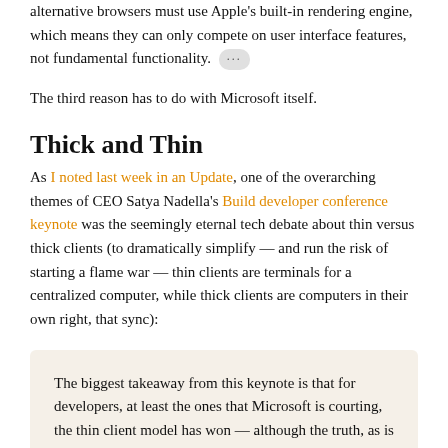alternative browsers must use Apple's built-in rendering engine, which means they can only compete on user interface features, not fundamental functionality. ...
The third reason has to do with Microsoft itself.
Thick and Thin
As I noted last week in an Update, one of the overarching themes of CEO Satya Nadella's Build developer conference keynote was the seemingly eternal tech debate about thin versus thick clients (to dramatically simplify — and run the risk of starting a flame war — thin clients are terminals for a centralized computer, while thick clients are computers in their own right, that sync):
The biggest takeaway from this keynote is that for developers, at least the ones that Microsoft is courting, the thin client model has won — although the truth, as is so often the case with tech holy wars, has ended up somewhere in the middle. Here is the key distinction: there